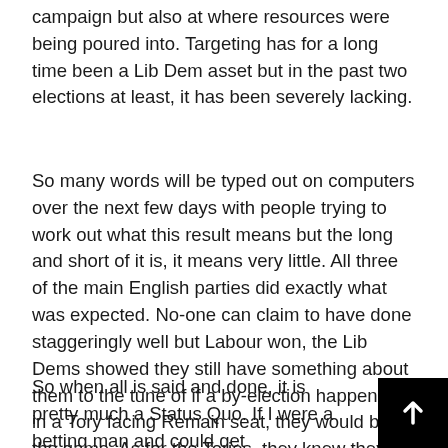campaign but also at where resources were being poured into. Targeting has for a long time been a Lib Dem asset but in the past two elections at least, it has been severely lacking.
So many words will be typed out on computers over the next few days with people trying to work out what this result means but the long and short of it is, it means very little. All three of the main English parties did exactly what was expected. No-one can claim to have done staggeringly well but Labour won, the Lib Dems showed they still have something about them to the tune of if a by-election happened in a Tory facing Remain seat, they would be in the game. As for the Tories, they knew they weren't getting anywhere and pretty much didn't care.
So when all is said and done, it is pretty much a Status Quo. If I were a betting man and could get